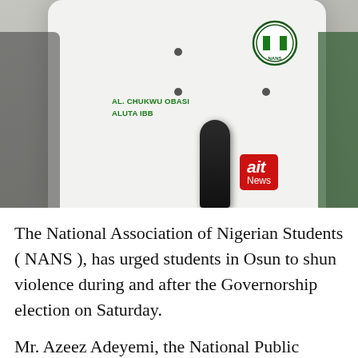[Figure (photo): A person wearing a white shirt with green text reading 'AL. CHUKWU OBASI ALUTA IBB' and a NANS (National Association of Nigerian Students) circular logo on the right chest. The person is holding or near an AIT News microphone (red with white AIT News branding). The background is neutral/indoor.]
The National Association of Nigerian Students ( NANS ), has urged students in Osun to shun violence during and after the Governorship election on Saturday.
Mr. Azeez Adeyemi, the National Public Relations